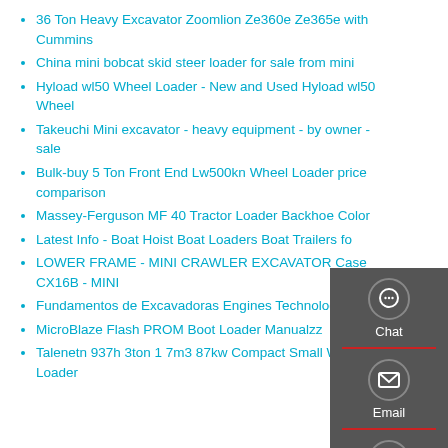36 Ton Heavy Excavator Zoomlion Ze360e Ze365e with Cummins
China mini bobcat skid steer loader for sale from mini
Hyload wl50 Wheel Loader - New and Used Hyload wl50 Wheel
Takeuchi Mini excavator - heavy equipment - by owner - sale
Bulk-buy 5 Ton Front End Lw500kn Wheel Loader price comparison
Massey-Ferguson MF 40 Tractor Loader Backhoe Color
Latest Info - Boat Hoist Boat Loaders Boat Trailers fo
LOWER FRAME - MINI CRAWLER EXCAVATOR Case CX16B - MINI
Fundamentos de Excavadoras Engines Technology
MicroBlaze Flash PROM Boot Loader Manualzz
Talenetn 937h 3ton 1 7m3 87kw Compact Small Wheel Loader
[Figure (infographic): Side panel with three contact options: Chat (speech bubble icon), Email (envelope icon), Contact (speech dots icon), separated by red dividers, on dark grey background]